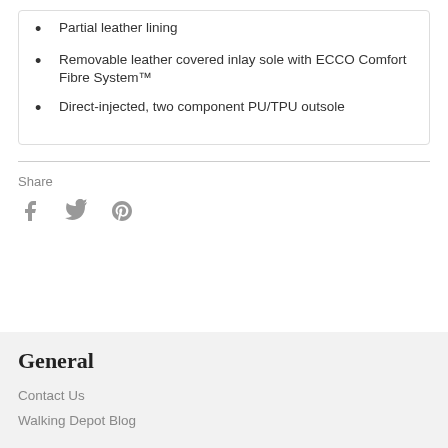Partial leather lining
Removable leather covered inlay sole with ECCO Comfort Fibre System™
Direct-injected, two component PU/TPU outsole
Share
General
Contact Us
Walking Depot Blog